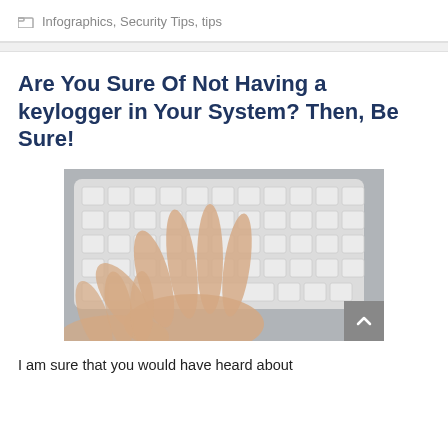Infographics, Security Tips, tips
Are You Sure Of Not Having a keylogger in Your System? Then, Be Sure!
[Figure (photo): Overhead view of a person's hands typing on a white keyboard on a grey surface]
I am sure that you would have heard about